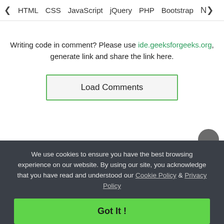< HTML  CSS  JavaScript  jQuery  PHP  Bootstrap  N>
Writing code in comment? Please use ide.geeksforgeeks.org, generate link and share the link here.
[Figure (screenshot): Load Comments button with green border]
We use cookies to ensure you have the best browsing experience on our website. By using our site, you acknowledge that you have read and understood our Cookie Policy & Privacy Policy
Got It !